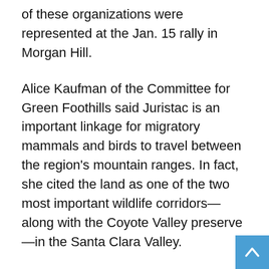of these organizations were represented at the Jan. 15 rally in Morgan Hill.
Alice Kaufman of the Committee for Green Foothills said Juristac is an important linkage for migratory mammals and birds to travel between the region's mountain ranges. In fact, she cited the land as one of the two most important wildlife corridors—along with the Coyote Valley preserve—in the Santa Clara Valley.
“The mine would cut right across one of the most important routes” for migrating animals, Kaufman said.
The council received letters and emails of support of the Jan. 15 resolution from dozens of area residents, officials, organizations and activists. The Greenbelt Alliance, Sierra Club, Audubon Society and California Native Plant Society expressed their support. 27th District Assemblymember Ash